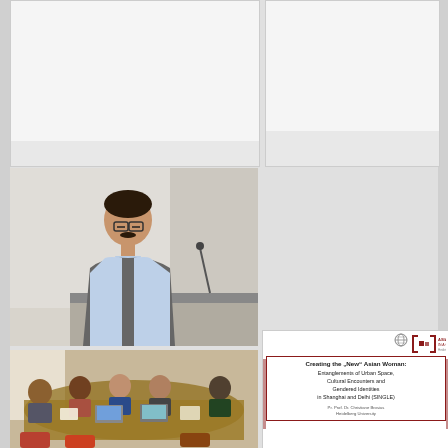[Figure (photo): Blank white panel at top left, partially cropped]
[Figure (photo): Blank white panel at top right, partially cropped]
[Figure (photo): A man in a grey vest speaking at a podium in a conference room setting]
[Figure (photo): Group of people seated around a table with laptops at a workshop]
[Figure (other): Presentation slide: Creating the New Asian Woman: Entanglements of Urban Space, Cultural Encounters and Gendered Identities in Shanghai and Delhi (SINGLE). By Pr. Prof. Dr. Christiane Brosius, Heidelberg University. ASIA AND IN A GLOBAL Heidelberg University logo shown.]